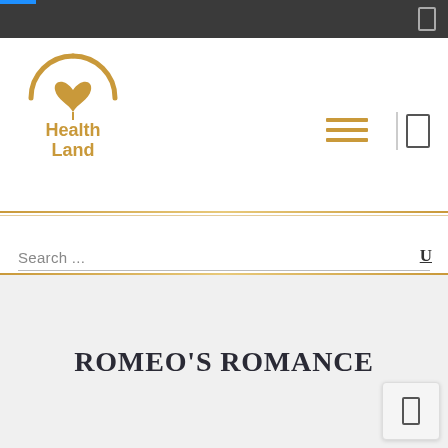Health Land - website header with logo, hamburger menu, and search bar
[Figure (logo): Health Land logo: golden circular arch with heart-shaped leaf motif above text reading 'Health Land' in gold]
ROMEO'S ROMANCE